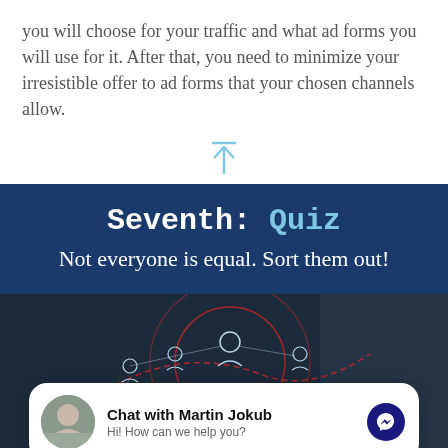you will choose for your traffic and what ad forms you will use for it. After that, you need to minimize your irresistible offer to ad forms that your chosen channels allow.
[Figure (other): Light blue upward arrow icon with horizontal bar above it, centered on page]
Seventh: Quiz
Not everyone is equal. Sort them out!
[Figure (photo): Dark background photo showing network of people icons connected with red circular lines and dashed paths, suggesting social network or connectivity concept]
[Figure (other): Chat widget overlay: avatar photo of Martin Jokub, bold text 'Chat with Martin Jokub', subtitle 'Hi! How can we help you?', dark blue Messenger icon button on right]